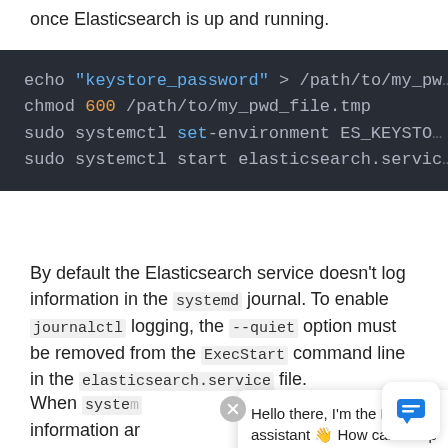once Elasticsearch is up and running.
[Figure (screenshot): Dark-themed code block showing shell commands: echo "keystore_password" > /path/to/my_pw..., chmod 600 /path/to/my_pwd_file.tmp, sudo systemctl set-environment ES_KEYSTO..., sudo systemctl start elasticsearch.servic...]
By default the Elasticsearch service doesn’t log information in the systemd journal. To enable journalctl logging, the --quiet option must be removed from the ExecStart command line in the elasticsearch.service file.
When syste... information ar... commands:
Hello there, I’m the Elastic assistant 👋 How can I help you today?